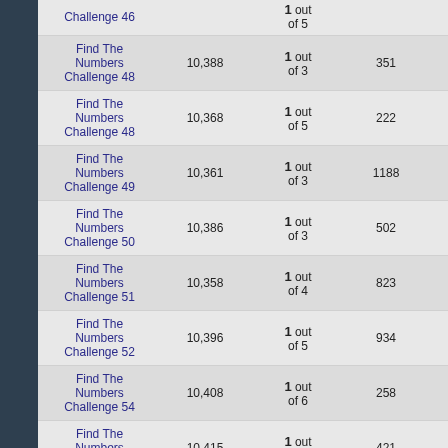| Challenge Name | Number | Odds | Winners |  |
| --- | --- | --- | --- | --- |
| Find The Numbers Challenge 46 |  | 1 out of 5 |  |  |
| Find The Numbers Challenge 48 | 10,388 | 1 out of 3 | 351 |  |
| Find The Numbers Challenge 48 | 10,368 | 1 out of 5 | 222 |  |
| Find The Numbers Challenge 49 | 10,361 | 1 out of 3 | 1188 |  |
| Find The Numbers Challenge 50 | 10,386 | 1 out of 3 | 502 |  |
| Find The Numbers Challenge 51 | 10,358 | 1 out of 4 | 823 |  |
| Find The Numbers Challenge 52 | 10,396 | 1 out of 5 | 934 |  |
| Find The Numbers Challenge 54 | 10,408 | 1 out of 6 | 258 | 1 |
| Find The Numbers Challenge 54 | 10,415 | 1 out of 5 | 421 | 1 |